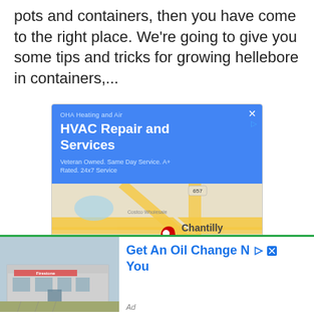pots and containers, then you have come to the right place. We're going to give you some tips and tricks for growing hellebore in containers,...
[Figure (screenshot): Google local ad for OHA Heating and Air - HVAC Repair and Services. Blue header with business name, title, and tagline 'Veteran Owned. Same Day Service. A+ Rated. 24x7 Service'. Map showing Chantilly area with location pin. Two buttons: Store info and Directions.]
[Figure (screenshot): Ad for oil change service showing a Firestone / auto service store building photo on the left, and text 'Get An Oil Change Near You' on the right in blue. Green banner at top. 'Ad' label at bottom.]